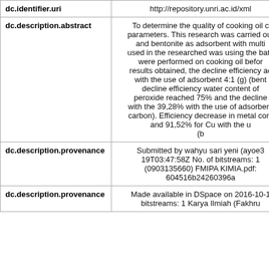| Field | Value |
| --- | --- |
| dc.identifier.uri | http://repository.unri.ac.id/xml |
| dc.description.abstract | To determine the quality of cooking oil c parameters. This research was carried out and bentonite as adsorbent with multi used in the researched was using the bato were performed on cooking oil befor results obtained, the decline efficiency ac with the use of adsorbent 4:1 (g) (bent decline efficiency water content of peroxide reached 75% and the decline with the 39,28% with the use of adsorbent carbon). Efficiency decrease in metal cont and 91,52% for Cu with the u (b |
| dc.description.provenance | Submitted by wahyu sari yeni (ayoe3 19T03:47:58Z No. of bitstreams: 1 (0903135660) FMIPA KIMIA.pdf: 604516b24260396a |
| dc.description.provenance | Made available in DSpace on 2016-10-1 bitstreams: 1 Karya Ilmiah (Fakhru |